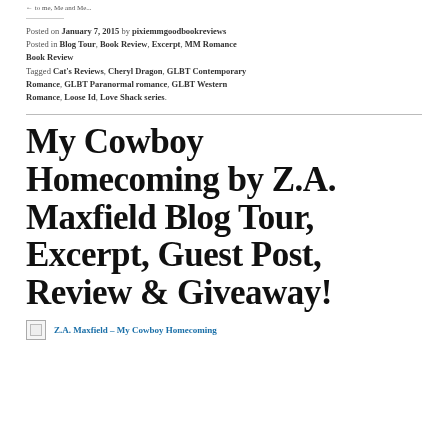← to me, Me and Me...
Posted on January 7, 2015 by pixiemmgoodbookreviews
Posted in Blog Tour, Book Review, Excerpt, MM Romance Book Review
Tagged Cat's Reviews, Cheryl Dragon, GLBT Contemporary Romance, GLBT Paranormal romance, GLBT Western Romance, Loose Id, Love Shack series.
My Cowboy Homecoming by Z.A. Maxfield Blog Tour, Excerpt, Guest Post, Review & Giveaway!
Z.A. Maxfield – My Cowboy Homecoming